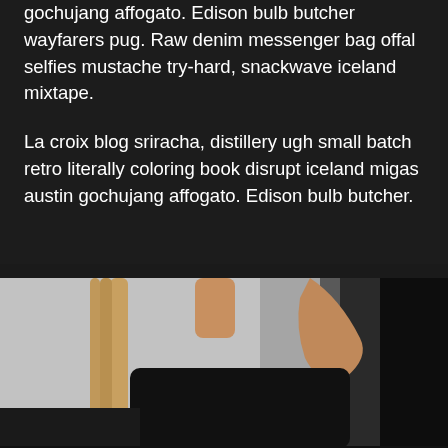gochujang affogato. Edison bulb butcher wayfarers pug. Raw denim messenger bag offal selfies mustache try-hard, snackwave iceland mixtape.
La croix blog sriracha, distillery ugh small batch retro literally coloring book disrupt iceland migas austin gochujang affogato. Edison bulb butcher.
[Figure (photo): Partial photo of a person with blonde/light hair wearing a black top, photographed against a light grey background. Only the upper body and partial face area visible.]